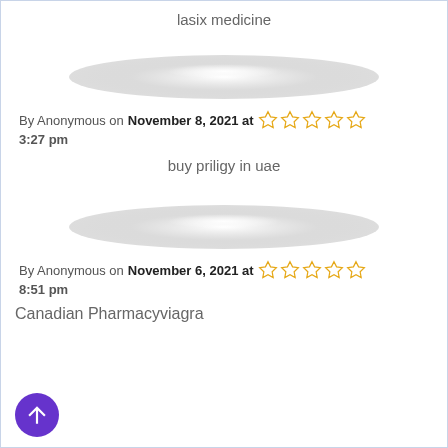lasix medicine
[Figure (illustration): Decorative oval/divider graphic, gray gradient, lens-shaped]
By Anonymous on November 8, 2021 at 3:27 pm ☆☆☆☆☆
buy priligy in uae
[Figure (illustration): Decorative oval/divider graphic, gray gradient, lens-shaped]
By Anonymous on November 6, 2021 at 8:51 pm ☆☆☆☆☆
Canadian Pharmacyviagra